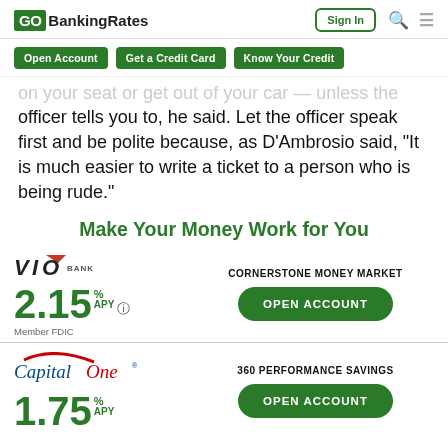GOBankingRates | Sign In
Open Account | Get a Credit Card | Know Your Credit
on your seat or get out of your car — unless the officer tells you to, he said. Let the officer speak first and be polite because, as D'Ambrosio said, "It is much easier to write a ticket to a person who is being rude."
Make Your Money Work for You
[Figure (logo): VIO Bank logo with orange flag accent]
2.15 % APY — CORNERSTONE MONEY MARKET — Member FDIC — OPEN ACCOUNT
[Figure (logo): Capital One logo]
1.75 % APY — 360 PERFORMANCE SAVINGS — OPEN ACCOUNT